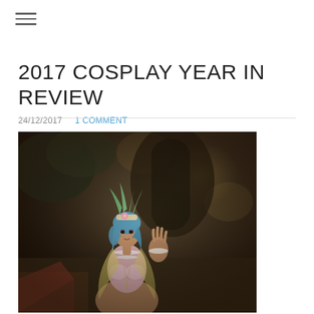≡ (hamburger menu icon)
2017 COSPLAY YEAR IN REVIEW
24/12/2017    1 COMMENT
[Figure (photo): A cosplayer wearing a blue wig with a green feathered headdress and pink outfit with pearl necklaces, posed outdoors with trees in the background.]